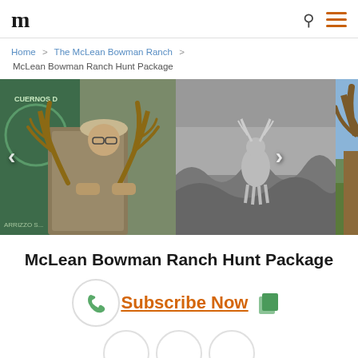McLean Bowman Ranch - navigation header with logo and search/menu icons
Home > The McLean Bowman Ranch > McLean Bowman Ranch Hunt Package
[Figure (photo): Three-panel image slider showing hunting scenes: left panel is a man in camouflage gear holding large deer antlers in front of a Cuernos Dorados sign; center panel is a black-and-white photo of a deer in brush; right panel is a partial color photo of large elk antlers. Left and right navigation arrows are visible.]
McLean Bowman Ranch Hunt Package
Subscribe Now